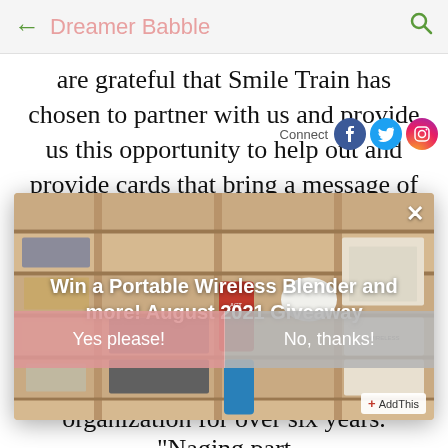Dreamer Babble
are grateful that Smile Train has chosen to partner with us and provide us this opportunity to help out and provide cards that bring a message of hope," said Sharon G. Fong, Chief Commercial
[Figure (screenshot): Popup advertisement overlay on blog page showing wooden crate/shelf with products inside. Title reads 'Win a Portable Wireless Blender and more! August 2021 Giveaway' with two buttons: 'Yes please!' and 'No, thanks!' and an AddThis sharing widget.]
organization for over six years. "Naging part